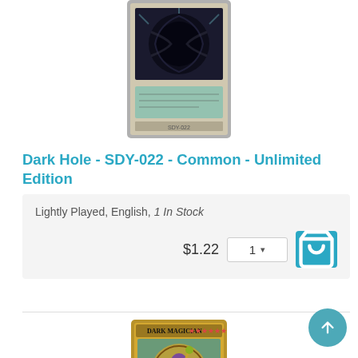[Figure (photo): Yu-Gi-Oh trading card: Dark Hole spell card, dark vortex/black hole artwork, teal-bordered card face]
Dark Hole - SDY-022 - Common - Unlimited Edition
Lightly Played, English, 1 In Stock
$1.22
[Figure (photo): Yu-Gi-Oh trading card: Dark Magician monster card, purple magician artwork with staff, gold-bordered card face]